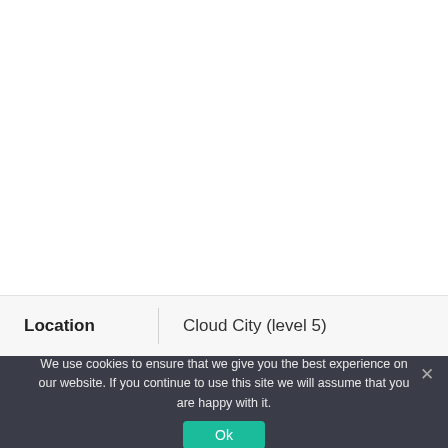| Location |  |
| --- | --- |
| Location | Cloud City (level 5) |
We use cookies to ensure that we give you the best experience on our website. If you continue to use this site we will assume that you are happy with it.
Ok